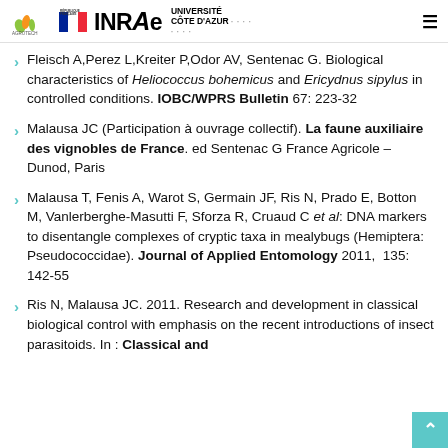INRAE | UNIVERSITÉ CÔTE D'AZUR [logos]
Fleisch A,Perez L,Kreiter P,Odor AV, Sentenac G. Biological characteristics of Heliococcus bohemicus and Ericydnus sipylus in controlled conditions. IOBC/WPRS Bulletin 67: 223-32
Malausa JC (Participation à ouvrage collectif). La faune auxiliaire des vignobles de France. ed Sentenac G France Agricole – Dunod, Paris
Malausa T, Fenis A, Warot S, Germain JF, Ris N, Prado E, Botton M, Vanlerberghe-Masutti F, Sforza R, Cruaud C et al: DNA markers to disentangle complexes of cryptic taxa in mealybugs (Hemiptera: Pseudococcidae). Journal of Applied Entomology 2011, 135: 142-55
Ris N, Malausa JC. 2011. Research and development in classical biological control with emphasis on the recent introductions of insect parasitoids. In : Classical and